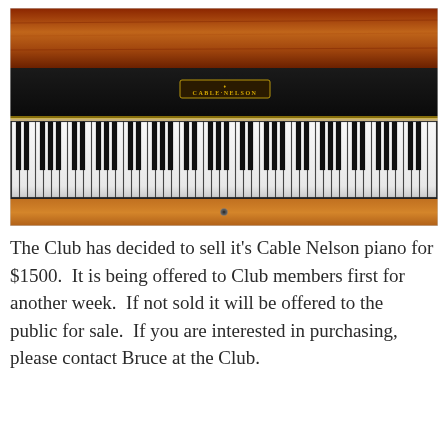[Figure (photo): Close-up photograph of a Cable Nelson upright piano showing the keyboard with black and white keys, and the fallboard with the Cable Nelson brand logo/nameplate visible above the keys. The piano has a warm walnut/mahogany wood finish.]
The Club has decided to sell it's Cable Nelson piano for $1500.  It is being offered to Club members first for another week.  If not sold it will be offered to the public for sale.  If you are interested in purchasing, please contact Bruce at the Club.